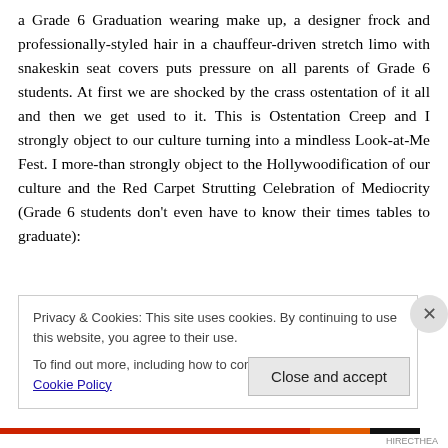a Grade 6 Graduation wearing make up, a designer frock and professionally-styled hair in a chauffeur-driven stretch limo with snakeskin seat covers puts pressure on all parents of Grade 6 students. At first we are shocked by the crass ostentation of it all and then we get used to it. This is Ostentation Creep and I strongly object to our culture turning into a mindless Look-at-Me Fest. I more-than strongly object to the Hollywoodification of our culture and the Red Carpet Strutting Celebration of Mediocrity (Grade 6 students don't even have to know their times tables to graduate):
Privacy & Cookies: This site uses cookies. By continuing to use this website, you agree to their use.
To find out more, including how to control cookies, see here: Cookie Policy